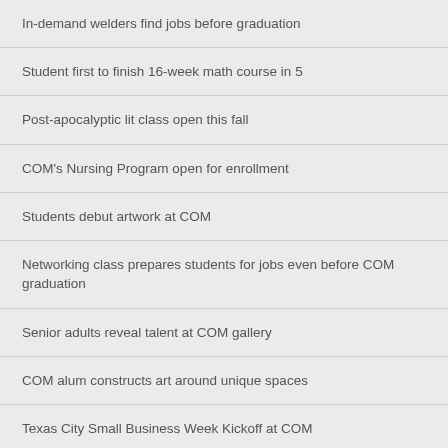In-demand welders find jobs before graduation
Student first to finish 16-week math course in 5
Post-apocalyptic lit class open this fall
COM's Nursing Program open for enrollment
Students debut artwork at COM
Networking class prepares students for jobs even before COM graduation
Senior adults reveal talent at COM gallery
COM alum constructs art around unique spaces
Texas City Small Business Week Kickoff at COM